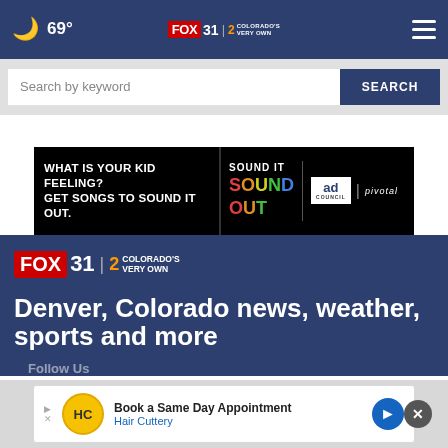69° FOX 31 2 COLORADO'S VERY OWN
Search by keyword
SEARCH
[Figure (screenshot): Advertisement banner: WHAT IS YOUR KID FEELING? GET SONGS TO SOUND IT OUT. Sound It Out, ad council, pivotal]
[Figure (logo): FOX 31 2 Colorado's Very Own logo (large, white text on dark blue background)]
Denver, Colorado news, weather, sports and more
[Figure (screenshot): Advertisement: Book a Same Day Appointment - Hair Cuttery with HC logo and navigation arrow icon. Dismiss (x) button visible.]